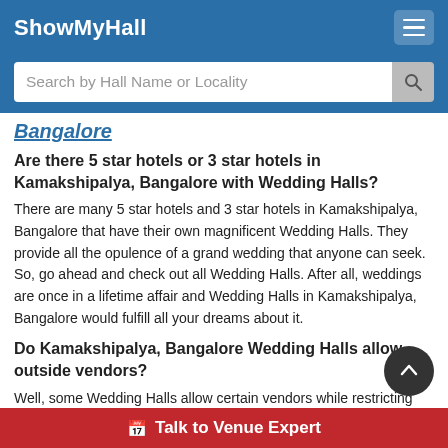ShowMyHall
Search by Hall Name or Locality
Bangalore
Are there 5 star hotels or 3 star hotels in Kamakshipalya, Bangalore with Wedding Halls?
There are many 5 star hotels and 3 star hotels in Kamakshipalya, Bangalore that have their own magnificent Wedding Halls. They provide all the opulence of a grand wedding that anyone can seek. So, go ahead and check out all Wedding Halls. After all, weddings are once in a lifetime affair and Wedding Halls in Kamakshipalya, Bangalore would fulfill all your dreams about it.
Do Kamakshipalya, Bangalore Wedding Halls allow outside vendors?
Well, some Wedding Halls allow certain vendors while restricting others. Most Wedding Halls have their pane...
Talk to Venue Expert